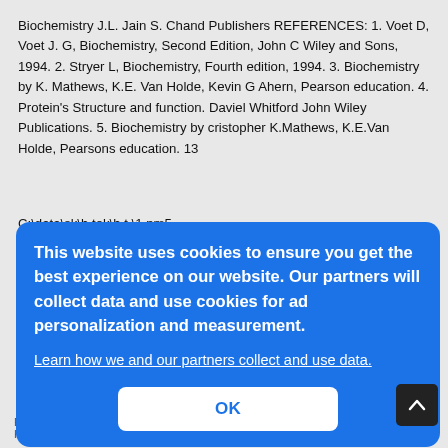Biochemistry J.L. Jain S. Chand Publishers REFERENCES: 1. Voet D, Voet J. G, Biochemistry, Second Edition, John C Wiley and Sons, 1994. 2. Stryer L, Biochemistry, Fourth edition, 1994. 3. Biochemistry by K. Mathews, K.E. Van Holde, Kevin G Ahern, Pearson education. 4. Protein's Structure and function. Daviel Whitford John Wiley Publications. 5. Biochemistry by cristopher K.Mathews, K.E.Van Holde, Pearsons education. 13
C:\data\sk\b.tek\b.t.\1.pm5
[Figure (screenshot): Cookie consent modal overlay with blue background. Text reads: 'This website uses cookies to ensure you get the best experience on our website. Our partners will collect data and use cookies for ad personalization and measurement.' followed by a link 'Learn how we and our partners collect and use data.' and an OK button.]
vice-
Engineering graphics Engineering Drawing K.L.Narayana & P.Kannaia N.D.Bhatt & ...